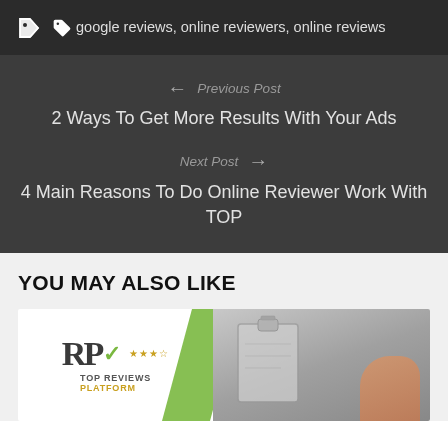google reviews, online reviewers, online reviews
← Previous Post
2 Ways To Get More Results With Your Ads
Next Post →
4 Main Reasons To Do Online Reviewer Work With TOP
YOU MAY ALSO LIKE
[Figure (logo): Top Reviews Platform logo with RP letters, checkmark, stars, and green accent graphic with clipboard photo]